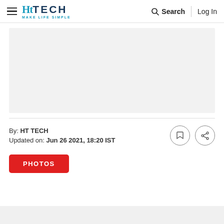HT TECH MAKE LIFE SIMPLE | Search | Log In
[Figure (other): Gray advertisement placeholder rectangle]
By: HT TECH
Updated on: Jun 26 2021, 18:20 IST
PHOTOS